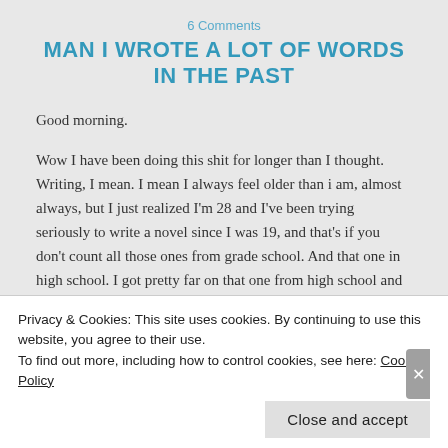6 Comments
MAN I WROTE A LOT OF WORDS IN THE PAST
Good morning.
Wow I have been doing this shit for longer than I thought. Writing, I mean. I mean I always feel older than i am, almost always, but I just realized I'm 28 and I've been trying seriously to write a novel since I was 19, and that's if you don't count all those ones from grade school. And that one in high school. I got pretty far on that one from high school and it was horrible. And the funny thing about that, just
Privacy & Cookies: This site uses cookies. By continuing to use this website, you agree to their use.
To find out more, including how to control cookies, see here: Cookie Policy
Close and accept